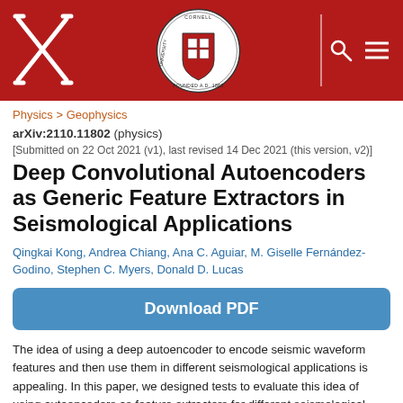[Figure (logo): arXiv logo (white X mark on red background) and Cornell University seal on red header bar with search and menu icons]
Physics > Geophysics
arXiv:2110.11802 (physics)
[Submitted on 22 Oct 2021 (v1), last revised 14 Dec 2021 (this version, v2)]
Deep Convolutional Autoencoders as Generic Feature Extractors in Seismological Applications
Qingkai Kong, Andrea Chiang, Ana C. Aguiar, M. Giselle Fernández-Godino, Stephen C. Myers, Donald D. Lucas
Download PDF
The idea of using a deep autoencoder to encode seismic waveform features and then use them in different seismological applications is appealing. In this paper, we designed tests to evaluate this idea of using autoencoders as feature extractors for different seismological applications, such as event discrimination (i.e., earthquake vs. noise